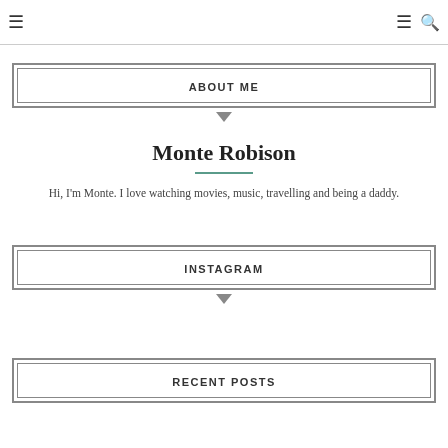☰   ☰ 🔍
ABOUT ME
Monte Robison
Hi, I'm Monte. I love watching movies, music, travelling and being a daddy.
INSTAGRAM
RECENT POSTS